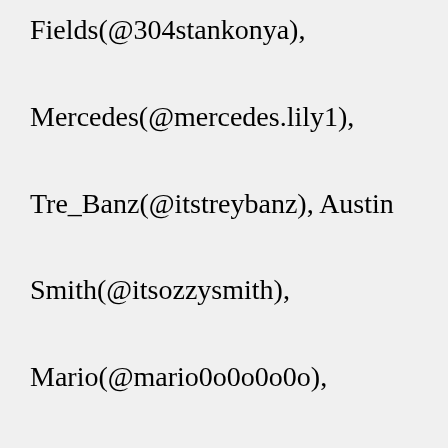Fields(@304stankonya), Mercedes(@mercedes.lily1), Tre_Banz(@itstreybanz), Austin Smith(@itsozzysmith), Mario(@mario0o0o0o0o), arantxagb_(@arantxagb_), Jade (@albertsvk), via 🎉🎉🎉(@viag555), Grant Sherrod(@bgsherrod) . Jlajahi ...Define slut. slut synonyms, slut pronunciation, slut translation, English dictionary definition of slut. n. 1. Often Offensive A person